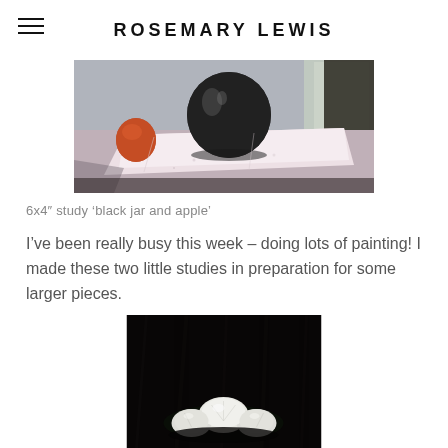ROSEMARY LEWIS
[Figure (photo): Still life painting showing a black round jar and an apple (orange/red) on a white cloth or paper on a table, with a window in the background. Muted grey-blue background.]
6x4″ study ‘black jar and apple’
I’ve been really busy this week – doing lots of painting! I made these two little studies in preparation for some larger pieces.
[Figure (photo): Dark background still life painting of white carnation or chrysanthemum flowers clustered at the bottom center, against a very dark near-black background.]